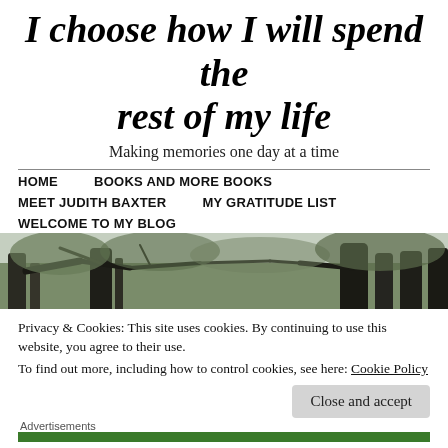I choose how I will spend the rest of my life
Making memories one day at a time
HOME    BOOKS AND MORE BOOKS    MEET JUDITH BAXTER    MY GRATITUDE LIST    WELCOME TO MY BLOG
[Figure (photo): Landscape photo of trees with branches against a grey sky, in muted green and grey tones.]
Privacy & Cookies: This site uses cookies. By continuing to use this website, you agree to their use.
To find out more, including how to control cookies, see here: Cookie Policy
Close and accept
Advertisements